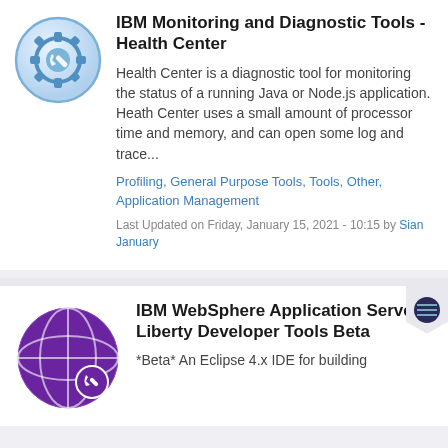IBM Monitoring and Diagnostic Tools - Health Center
Health Center is a diagnostic tool for monitoring the status of a running Java or Node.js application. Heath Center uses a small amount of processor time and memory, and can open some log and trace...
Profiling, General Purpose Tools, Tools, Other, Application Management
Last Updated on Friday, January 15, 2021 - 10:15 by Sian January
IBM WebSphere Application Server Liberty Developer Tools Beta
*Beta* An Eclipse 4.x IDE for building